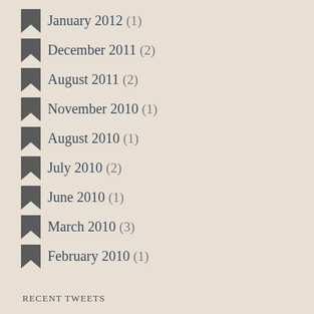January 2012 (1)
December 2011 (2)
August 2011 (2)
November 2010 (1)
August 2010 (1)
July 2010 (2)
June 2010 (1)
March 2010 (3)
February 2010 (1)
Recent Tweets
“Every day, and in Every way, I am getting better and better.” Dr. Emile